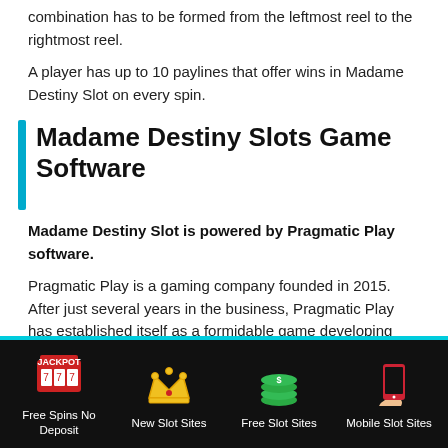combination has to be formed from the leftmost reel to the rightmost reel.
A player has up to 10 paylines that offer wins in Madame Destiny Slot on every spin.
Madame Destiny Slots Game Software
Madame Destiny Slot is powered by Pragmatic Play software.
Pragmatic Play is a gaming company founded in 2015. After just several years in the business, Pragmatic Play has established itself as a formidable game developing company.
[Figure (infographic): Footer navigation bar with four icons and labels on black background: Free Spins No Deposit (slot machine/jackpot icon), New Slot Sites (crown icon), Free Slot Sites (money/cash icon), Mobile Slot Sites (mobile phone icon)]